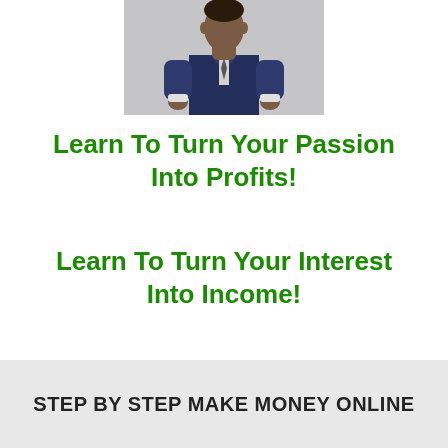[Figure (photo): A man in a dark blue suit standing with arms folded, photographed from mid-torso up, light grey background]
Learn To Turn Your Passion Into Profits!
Learn To Turn Your Interest Into Income!
Access The Free Success Blueprint Here>>
STEP BY STEP MAKE MONEY ONLINE